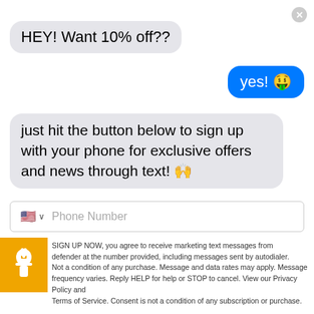HEY! Want 10% off??
yes! 🤑
just hit the button below to sign up with your phone for exclusive offers and news through text! 🙌
Phone Number
SIGN UP NOW, you agree to receive marketing text messages from defender at the number provided, including messages sent by autodialer. Not a condition of any purchase. Message and data rates may apply. Message frequency varies. Reply HELP for help or STOP to cancel. View our Privacy Policy and Terms of Service. Consent is not a condition of any subscription or purchase.